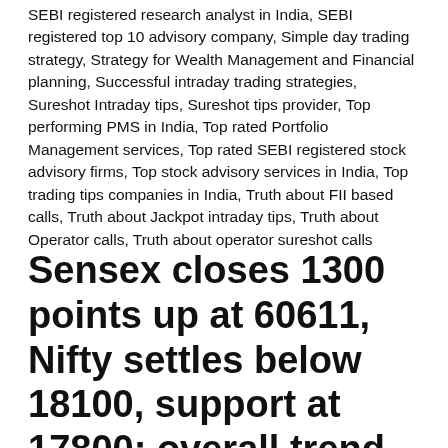SEBI registered research analyst in India, SEBI registered top 10 advisory company, Simple day trading strategy, Strategy for Wealth Management and Financial planning, Successful intraday trading strategies, Sureshot Intraday tips, Sureshot tips provider, Top performing PMS in India, Top rated Portfolio Management services, Top rated SEBI registered stock advisory firms, Top stock advisory services in India, Top trading tips companies in India, Truth about FII based calls, Truth about Jackpot intraday tips, Truth about Operator calls, Truth about operator sureshot calls
Sensex closes 1300 points up at 60611, Nifty settles below 18100, support at 17800; overall trend bullish